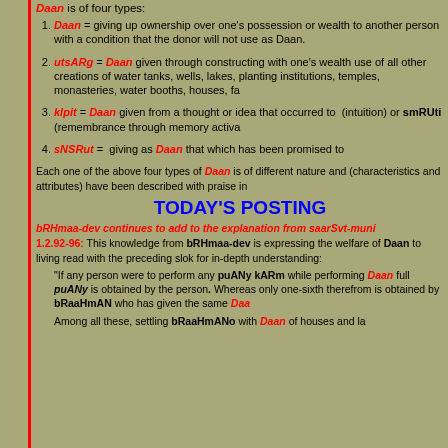Daan is of four types:
Daan = giving up ownership over one's possession or wealth to another person with a condition that the donor will not use as Daan.
utsARg = Daan given through constructing with one's wealth use of all other creations of water tanks, wells, lakes, planting institutions, temples, monasteries, water booths, houses, fa
klpit = Daan given from a thought or idea that occurred to (intuition) or smRUti (remembrance through memory activa
sNSRut = giving as Daan that which has been promised to
Each one of the above four types of Daan is of different nature and (characteristics and attributes) have been described with praise in
TODAY'S POSTING
bRHmaa-dev continues to add to the explanation from saarSvt-muni
1.2.92-96: This knowledge from bRHmaa-dev is expressing the welfare of Daan to living read with the preceding slok for in-depth understanding:
"If any person were to perform any puANy kARm while performing Daan full puANy is obtained by the person. Whereas only one-sixth therefrom is obtained by bRaaHmAN who has given the same Daa
Among all these, settling bRaaHmANo with Daan of houses and la